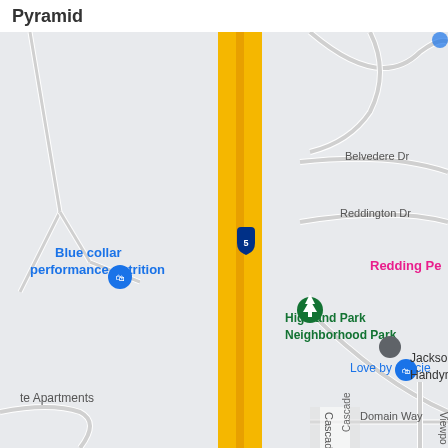Pyramid
[Figure (map): Google Maps view showing Interstate 5 running vertically through the center with yellow highway lines. Left side shows Blue collar performance nutrition with a blue map pin. Center shows Highland Park Neighborhood Park with a green tree icon. Right side shows street names: Stinson Loop, Belvedere Dr, Reddington Dr, Mission De Oro Dr, Domain Way. Also shows Jackson's Handyman Ser... with a gray map pin, Love by Gracie with a blue map pin, Redding Pe... in pink text, and Cascade road label at the bottom. Bottom left shows 'te Apartments'. Interstate 5 shield marker visible on the highway.]